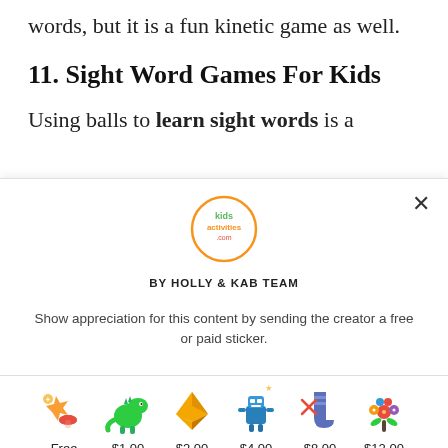words, but it is a fun kinetic game as well.
11. Sight Word Games For Kids
Using balls to learn sight words is a
[Figure (logo): Kids Activities .com circular logo]
BY HOLLY & KAB TEAM
Show appreciation for this content by sending the creator a free or paid sticker.
[Figure (illustration): Six sticker options: Free sticker (star and mushroom), $1.00 (green dinosaur), $2.00 (golden origami crane), $4.00 (blue robot), $8.00 (blue knitted sock), $12.00 (flower bouquet)]